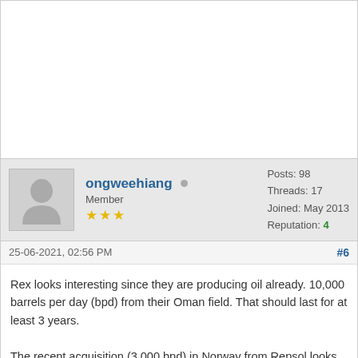[Figure (other): Blank white top area of forum page, upper portion cropped]
ongweehiang  Member ★★★  Posts: 98  Threads: 17  Joined: May 2013  Reputation: 4
25-06-2021, 02:56 PM  #6
Rex looks interesting since they are producing oil already. 10,000 barrels per day (bpd) from their Oman field. That should last for at least 3 years.

The recent acquisition (3,000 bpd) in Norway from Repsol looks highly accretive too at 2x pre-tax profit.